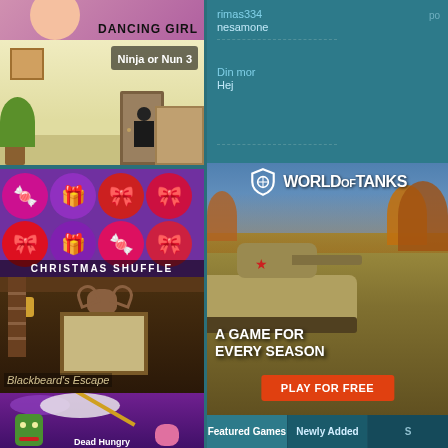[Figure (screenshot): Dancing Girl game thumbnail with pink/purple background and bold text 'DANCING GIRL']
[Figure (screenshot): Ninja or Nun 3 game thumbnail showing cartoon ninja in a room]
[Figure (screenshot): Christmas Shuffle game thumbnail with colorful Christmas ornament icons and label 'CHRISTMAS SHUFFLE']
[Figure (screenshot): Blackbeard's Escape game thumbnail showing dark cabin interior with text 'Blackbeard's Escape']
[Figure (screenshot): Dead Hungry game thumbnail with purple/green zombie scene]
rimas334
nesamone
po
Din mor
Hej
[Figure (advertisement): World of Tanks advertisement showing tank in autumn field with text 'WORLD OF TANKS', 'A GAME FOR EVERY SEASON', and 'PLAY FOR FREE' button]
Featured Games
Newly Added
S